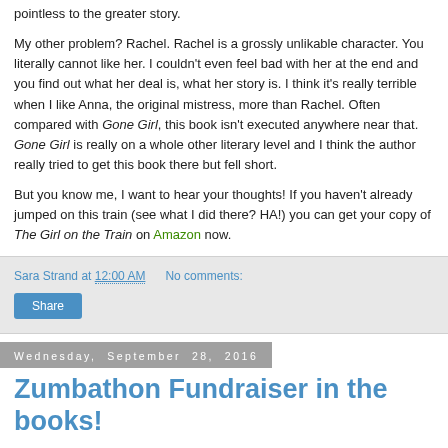pointless to the greater story.
My other problem? Rachel. Rachel is a grossly unlikable character. You literally cannot like her. I couldn't even feel bad with her at the end and you find out what her deal is, what her story is. I think it's really terrible when I like Anna, the original mistress, more than Rachel. Often compared with Gone Girl, this book isn't executed anywhere near that. Gone Girl is really on a whole other literary level and I think the author really tried to get this book there but fell short.
But you know me, I want to hear your thoughts! If you haven't already jumped on this train (see what I did there? HA!) you can get your copy of The Girl on the Train on Amazon now.
Sara Strand at 12:00 AM   No comments:
Share
Wednesday, September 28, 2016
Zumbathon Fundraiser in the books!